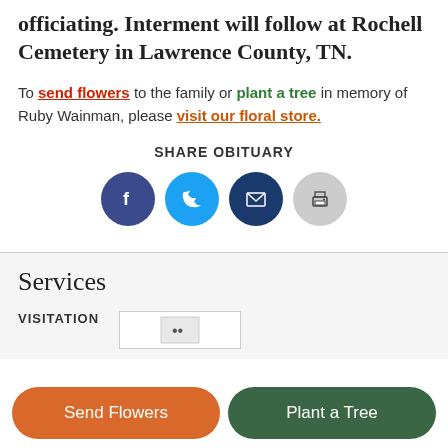officiating.  Interment will follow at Rochell Cemetery in Lawrence County, TN.
To send flowers to the family or plant a tree in memory of Ruby Wainman, please visit our floral store.
SHARE OBITUARY
[Figure (infographic): Four social share icon buttons: Facebook (dark blue circle with f), Twitter (light blue circle with bird), Email (dark navy circle with envelope), Print (gray circle with printer)]
Services
VISITATION
[Figure (screenshot): Small map thumbnail box]
Send Flowers
Plant a Tree